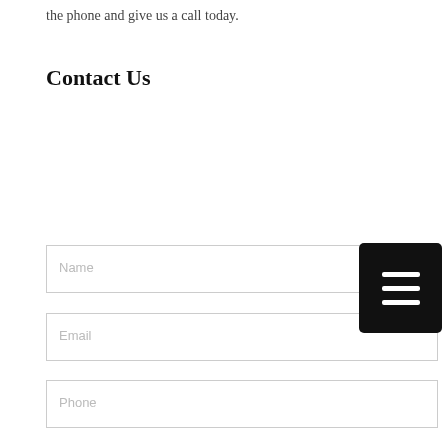the phone and give us a call today.
Contact Us
[Figure (screenshot): Black hamburger menu button with three white horizontal lines]
Name
Email
Phone
Company Name
Type of Shredder or Material Handling Equipment Used